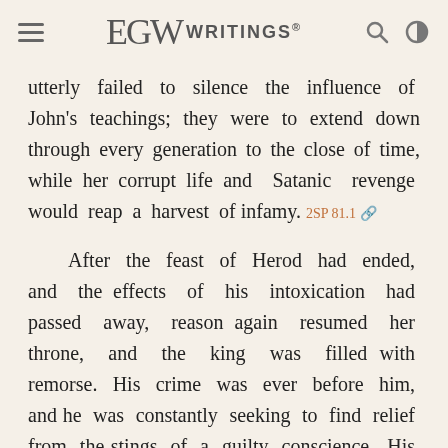EGW WRITINGS®
utterly failed to silence the influence of John's teachings; they were to extend down through every generation to the close of time, while her corrupt life and Satanic revenge would reap a harvest of infamy. 2SP 81.1
After the feast of Herod had ended, and the effects of his intoxication had passed away, reason again resumed her throne, and the king was filled with remorse. His crime was ever before him, and he was constantly seeking to find relief from the stings of a guilty conscience. His faith in John as an honored prophet of God, was unshaken. As he reflected upon his life of self-denial, his powerful discourses, his solemn, earnest appeals, his sound judgment as a counselor, and then reflected that he